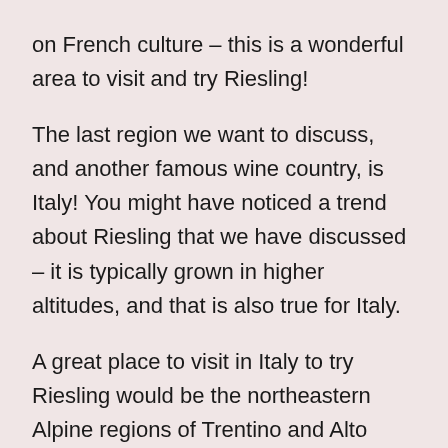on French culture – this is a wonderful area to visit and try Riesling!
The last region we want to discuss, and another famous wine country, is Italy! You might have noticed a trend about Riesling that we have discussed – it is typically grown in higher altitudes, and that is also true for Italy.
A great place to visit in Italy to try Riesling would be the northeastern Alpine regions of Trentino and Alto Adige. It does not get much better for fans of hiking and scenic views than being in the alps and having a nice Riesling to